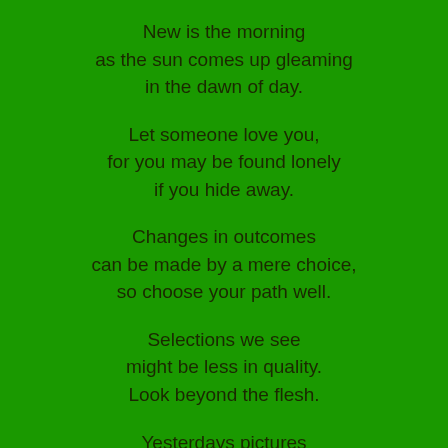New is the morning
as the sun comes up gleaming
in the dawn of day.
Let someone love you,
for you may be found lonely
if you hide away.
Changes in outcomes
can be made by a mere choice,
so choose your path well.
Selections we see
might be less in quality.
Look beyond the flesh.
Yesterdays pictures
sometimes look much different
than our memories.
Pieces of wonder
are the moments in our dreams
we wish to come true.